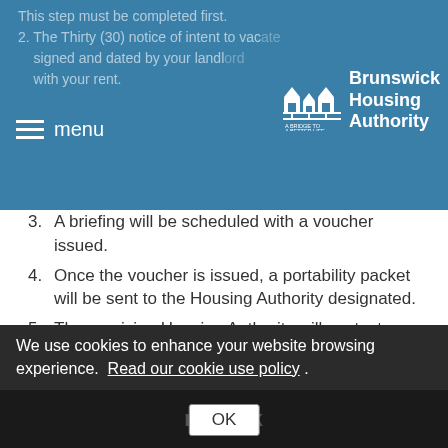Brunswick Housing Authority - menu navigation bar
This step must be completed first. The Thirty (30) notice of intent to vacate must be signed and dated by your landlord and submitted with your rent.
3. A briefing will be scheduled with a voucher issued.
4. Once the voucher is issued, a portability packet will be sent to the Housing Authority designated.
5. The receiving Housing Authority will contact you for a briefing and to explain the requirement of their Section 8 Voucher program.
For more information, please click the links below:
Applicants
Landlords
Waitlist
We use cookies to enhance your website browsing experience. Read our cookie use policy .